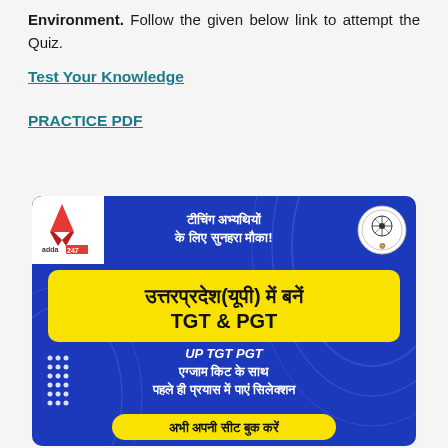Environment. Follow the given below link to attempt the Quiz.
Test Your Knowledge
PRACTICE PDF
[Figure (illustration): Advertisement banner for Adda247 promoting UP TGT & PGT exam preparation. Blue background with yellow highlighted boxes. Hindi text: टीचिंग अभ्यथियों के लिए सुनहरा मौका!, उत्तरप्रदेश(यूपी) में बनें TGT & PGT, UP TGT PGT एग्जाम किट के साथ पहले ही प्रयास में पाएं सिलेक्शन, अभी अपनी सीट बुक करें. Adda247 logo top left, UP government emblem top right.]